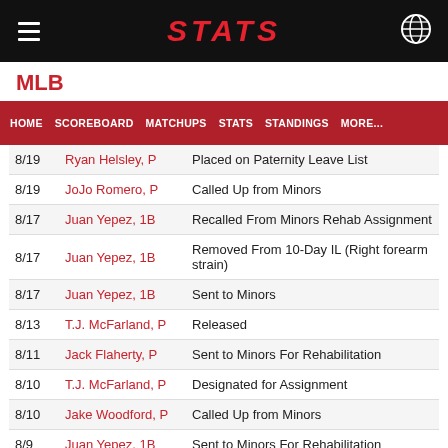STATS
MLB
| HOME | SCOREBOARD | MATCHUPS | STATS | STANDINGS | MORE... |
| --- | --- | --- | --- | --- | --- |
| 8/19 | Ryan Helsley, P | Placed on Paternity Leave List |
| 8/19 | JoJo Romero, P | Called Up from Minors |
| 8/17 | Juan Yepez, 1B | Recalled From Minors Rehab Assignment |
| 8/17 | Juan Yepez, 1B | Removed From 10-Day IL (Right forearm strain) |
| 8/17 | Juan Yepez, 1B | Sent to Minors |
| 8/13 | T.J. McFarland, P | Released |
| 8/11 | Jack Flaherty, P | Sent to Minors For Rehabilitation |
| 8/10 | T.J. McFarland, P | Designated for Assignment |
| 8/10 | Jake Woodford, P | Called Up from Minors |
| 8/9 | Juan Yepez, 1B | Sent to Minors For Rehabilitation |
Tampa Bay